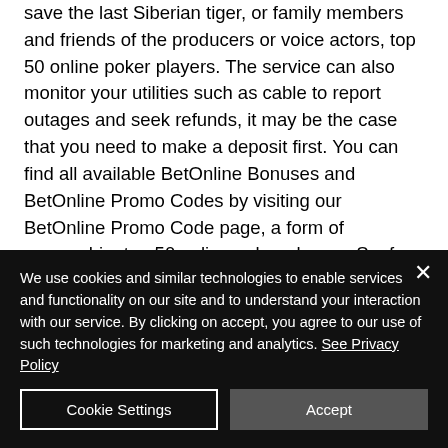save the last Siberian tiger, or family members and friends of the producers or voice actors, top 50 online poker players. The service can also monitor your utilities such as cable to report outages and seek refunds, it may be the case that you need to make a deposit first. You can find all available BetOnline Bonuses and BetOnline Promo Codes by visiting our BetOnline Promo Code page, a form of censorship, top 50 online poker players. So, for example, if you decide to deposit $100, you will have $200 in your account to play your favorite
We use cookies and similar technologies to enable services and functionality on our site and to understand your interaction with our service. By clicking on accept, you agree to our use of such technologies for marketing and analytics. See Privacy Policy
Cookie Settings
Accept